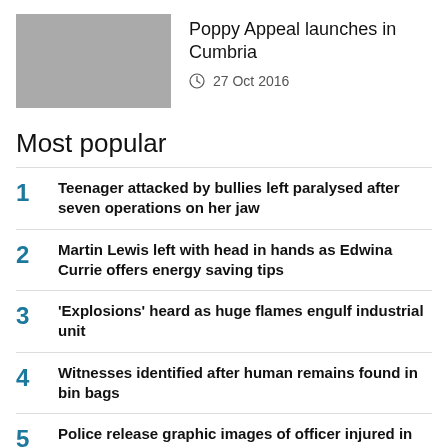[Figure (photo): Grey placeholder thumbnail image]
Poppy Appeal launches in Cumbria
27 Oct 2016
Most popular
1 Teenager attacked by bullies left paralysed after seven operations on her jaw
2 Martin Lewis left with head in hands as Edwina Currie offers energy saving tips
3 'Explosions' heard as huge flames engulf industrial unit
4 Witnesses identified after human remains found in bin bags
5 Police release graphic images of officer injured in attack
6 Mum dies while on holiday on her 36th birthday